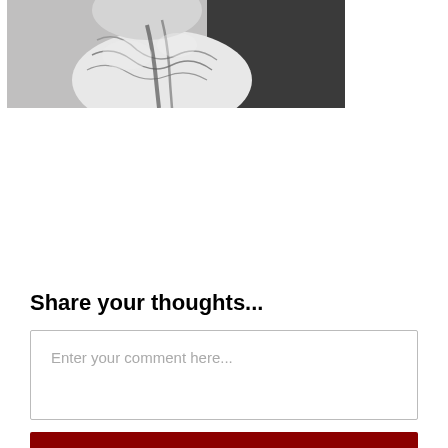[Figure (photo): Black and white photograph showing a person (partially visible), cropped at the top of the page]
Share your thoughts...
Enter your comment here...